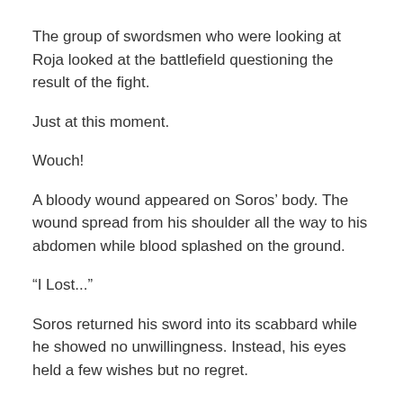The group of swordsmen who were looking at Roja looked at the battlefield questioning the result of the fight.
Just at this moment.
Wouch!
A bloody wound appeared on Soros’ body. The wound spread from his shoulder all the way to his abdomen while blood splashed on the ground.
“I Lost...”
Soros returned his sword into its scabbard while he showed no unwillingness. Instead, his eyes held a few wishes but no regret.
Mihawk turned and looked at the swordsman with a complicated gaze. In fact, Soros could choose not to make that final attack with him, but he still went with it.